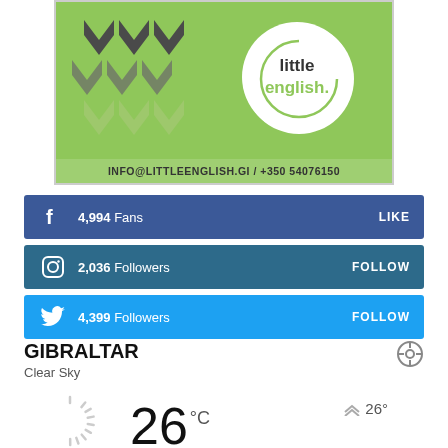[Figure (logo): Little English language school advertisement with green background, chevron pattern, circular logo with text 'little english.' and contact info: INFO@LITTLEENGLISH.GI / +350 54076150]
4,994  Fans   LIKE
2,036  Followers   FOLLOW
4,399  Followers   FOLLOW
GIBRALTAR
Clear Sky
26 °C
26°